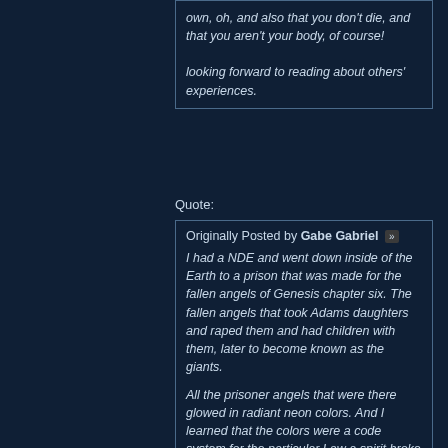own, oh, and also that you don't die, and that you aren't your body, of course!

looking forward to reading about others' experiences.
Quote:
Originally Posted by Gabe Gabriel
I had a NDE and went down inside of the Earth to a prison that was made for the fallen angels of Genesis chapter six. The fallen angels that took Adams daughters and raped them and had children with them, later to become known as the giants.

All the prisoner angels that were there glowed in radiant neon colors. And I learned that the colors were a code system for the particular Law a spirit broke to place himself in that prison. A color code system.

The prison was the darkest place I have yet ever been to, and I could see nothing except